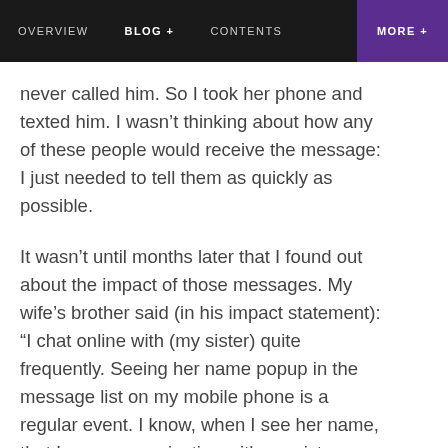OVERVIEW   BLOG+   CONTENTS   MORE +
never called him. So I took her phone and texted him. I wasn't thinking about how any of these people would receive the message: I just needed to tell them as quickly as possible.
It wasn't until months later that I found out about the impact of those messages. My wife's brother said (in his impact statement): "I chat online with (my sister) quite frequently. Seeing her name popup in the message list on my mobile phone is a regular event. I know, when I see her name, that I am communicating with my sister. However, on the afternoon (after the crash), I received a very disturbing message. The message was delivered from Roberta's mobile